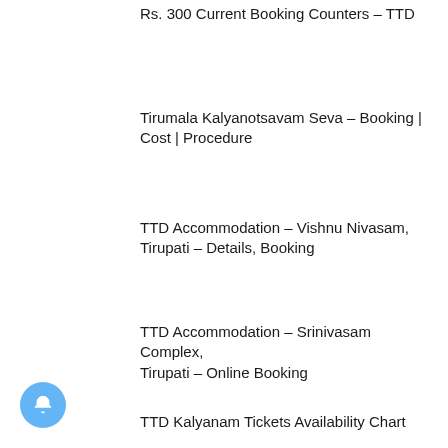Rs. 300 Current Booking Counters – TTD
Tirumala Kalyanotsavam Seva – Booking | Cost | Procedure
TTD Accommodation – Vishnu Nivasam, Tirupati – Details, Booking
TTD Accommodation – Srinivasam Complex, Tirupati – Online Booking
TTD Kalyanam Tickets Availability Chart